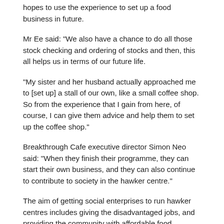hopes to use the experience to set up a food business in future.
Mr Ee said: "We also have a chance to do all those stock checking and ordering of stocks and then, this all helps us in terms of our future life.
“My sister and her husband actually approached me to [set up] a stall of our own, like a small coffee shop. So from the experience that I gain from here, of course, I can give them advice and help them to set up the coffee shop.”
Breakthrough Cafe executive director Simon Neo said: “When they finish their programme, they can start their own business, and they can also continue to contribute to society in the hawker centre.”
The aim of getting social enterprises to run hawker centres includes giving the disadvantaged jobs, and providing the community with affordable food.
This article was first published in CNA
Happenings & News